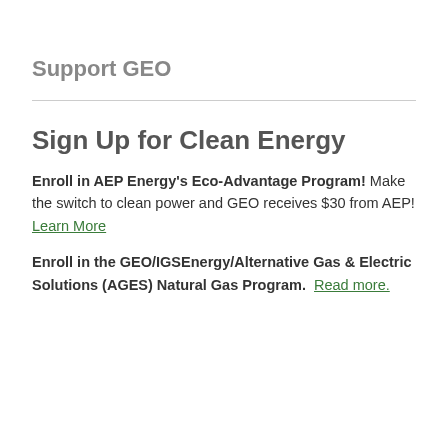Support GEO
Sign Up for Clean Energy
Enroll in AEP Energy's Eco-Advantage Program! Make the switch to clean power and GEO receives $30 from AEP! Learn More
Enroll in the GEO/IGSEnergy/Alternative Gas & Electric Solutions (AGES) Natural Gas Program. Read more.